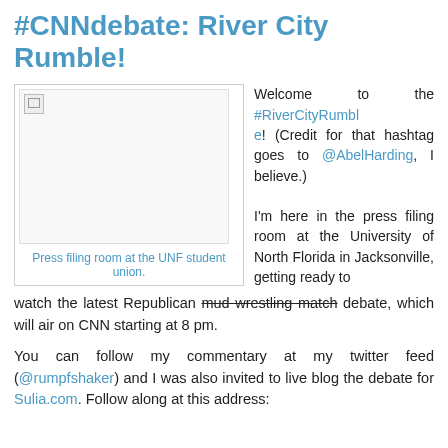#CNNdebate: River City Rumble!
[Figure (photo): Press filing room at the UNF student union - image placeholder with broken image icon]
Press filing room at the UNF student union.
Welcome to the #RiverCityRumble! (Credit for that hashtag goes to @AbelHarding, I believe.) I'm here in the press filing room at the University of North Florida in Jacksonville, getting ready to watch the latest Republican mud wrestling match debate, which will air on CNN starting at 8 pm.
You can follow my commentary at my twitter feed (@rumpfshaker) and I was also invited to live blog the debate for Sulia.com. Follow along at this address: